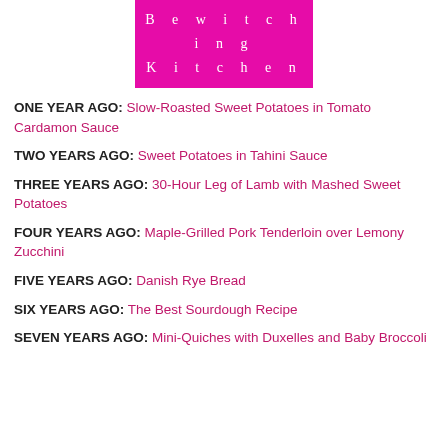[Figure (logo): Bewitching Kitchen logo — magenta/pink rectangle with white spaced-out text reading 'Bewitching Kitchen' on two lines]
ONE YEAR AGO: Slow-Roasted Sweet Potatoes in Tomato Cardamon Sauce
TWO YEARS AGO: Sweet Potatoes in Tahini Sauce
THREE YEARS AGO: 30-Hour Leg of Lamb with Mashed Sweet Potatoes
FOUR YEARS AGO: Maple-Grilled Pork Tenderloin over Lemony Zucchini
FIVE YEARS AGO: Danish Rye Bread
SIX YEARS AGO: The Best Sourdough Recipe
SEVEN YEARS AGO: Mini-Quiches with Duxelles and Baby Broccoli